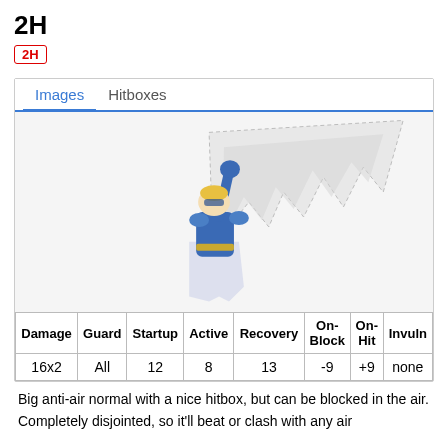2H
2H
[Figure (illustration): Animated fighting game character in blue and white outfit performing an upward ice/snow attack with a large triangular icy spike rising diagonally to the upper right.]
| Damage | Guard | Startup | Active | Recovery | On-Block | On-Hit | Invuln |
| --- | --- | --- | --- | --- | --- | --- | --- |
| 16x2 | All | 12 | 8 | 13 | -9 | +9 | none |
Big anti-air normal with a nice hitbox, but can be blocked in the air. Completely disjointed, so it'll beat or clash with any air